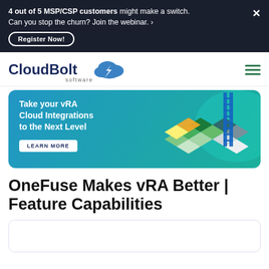4 out of 5 MSP/CSP customers might make a switch. Can you stop the churn? Join the webinar. › Register Now!
[Figure (logo): CloudBolt Software logo with cloud and lightning bolt icon]
[Figure (illustration): Banner ad: Take your vRA Cloud Integrations to the Next Level. LEARN MORE button. Decorative geometric cloud shapes and ladder illustration on teal/blue gradient background.]
OneFuse Makes vRA Better | Feature Capabilities